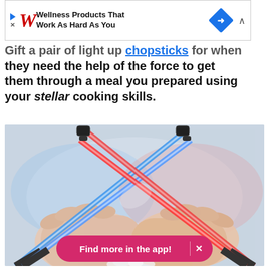[Figure (screenshot): Walgreens advertisement banner showing logo and text 'Wellness Products That Work As Hard As You' with navigation arrow and close button]
Gift a pair of light up chopsticks for when they need the help of the force to get them through a meal you prepared using your stellar cooking skills.
[Figure (photo): Two pairs of lightsaber-style chopsticks being held by two hands crossing — one pair glowing blue (left hand) and one pair glowing red (right hand), crossing in the middle like lightsabers, with some food visible at the bottom]
Find more in the app!